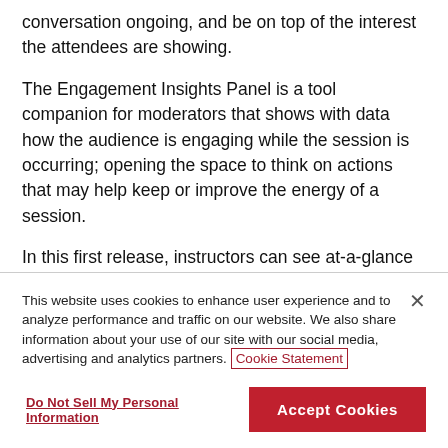conversation ongoing, and be on top of the interest the attendees are showing.
The Engagement Insights Panel is a tool companion for moderators that shows with data how the audience is engaging while the session is occurring; opening the space to think on actions that may help keep or improve the energy of a session.
In this first release, instructors can see at-a-glance
This website uses cookies to enhance user experience and to analyze performance and traffic on our website. We also share information about your use of our site with our social media, advertising and analytics partners. Cookie Statement
Do Not Sell My Personal Information
Accept Cookies